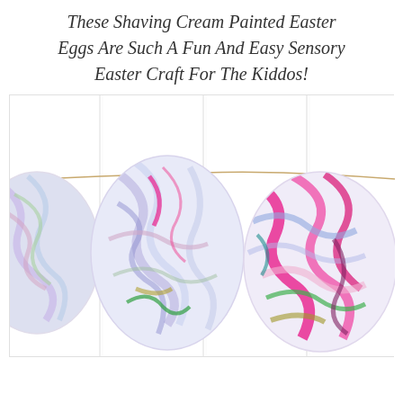These Shaving Cream Painted Easter Eggs Are Such A Fun And Easy Sensory Easter Craft For The Kiddos!
[Figure (photo): A garland of shaving cream marbled Easter eggs hanging on a string against a white beadboard background. Two full eggs are visible in the center, plus a partial egg on the left. The eggs feature colorful swirled patterns in pink, blue, purple, green, and yellow against white backgrounds.]